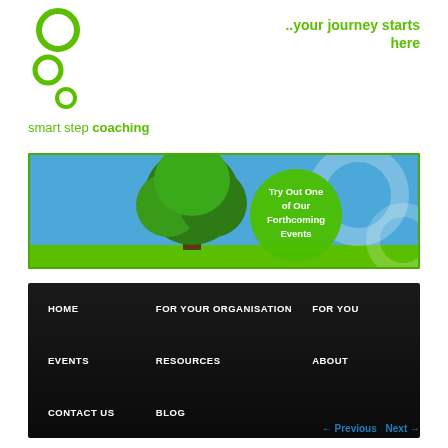[Figure (logo): Smart Step Coaching logo: three green circles arranged diagonally with text 'smart step coaching' in green below]
..your journey starts here
[Figure (photo): Banner image showing a green tree against a blue sky, with a green circle overlay containing white text 'Try Out One of Our Forthcoming Events', and decorative light-colored circles on the right side]
HOME
FOR YOUR ORGANISATION
FOR YOU
EVENTS
RESOURCES
ABOUT
CONTACT US
BLOG
← Previous   Next →